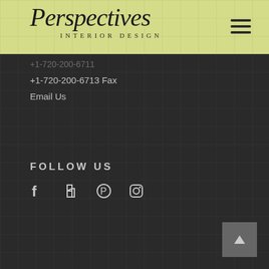[Figure (logo): Perspectives Interior Design script logo with subtitle on yellow-green grid background]
+1-720-200-6713 Fax
Email Us
FOLLOW US
[Figure (infographic): Social media icons: Facebook, Houzz, Pinterest, Instagram]